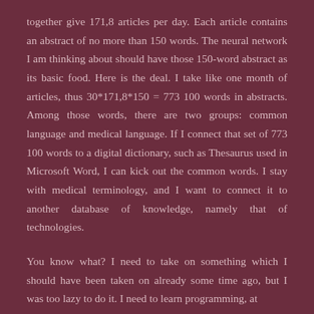together give 171,8 articles per day. Each article contains an abstract of no more than 150 words. The neural network I am thinking about should have those 150-word abstract as its basic food. Here is the deal. I take like one month of articles, thus 30*171,8*150 = 773 100 words in abstracts. Among those words, there are two groups: common language and medical language. If I connect that set of 773 100 words to a digital dictionary, such as Thesaurus used in Microsoft Word, I can kick out the common words. I stay with medical terminology, and I want to connect it to another database of knowledge, namely that of technologies.
You know what? I need to take on something which I should have been taken on already some time ago, but I was too lazy to do it. I need to learn programming, at